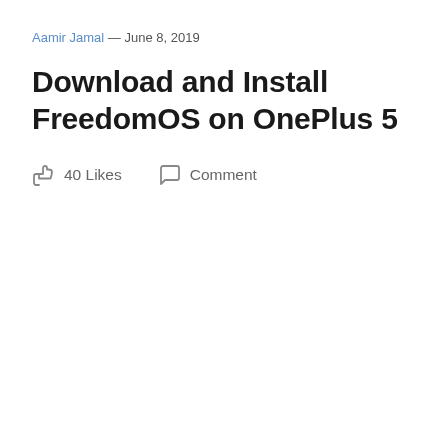Aamir Jamal — June 8, 2019
Download and Install FreedomOS on OnePlus 5
40 Likes   Comment